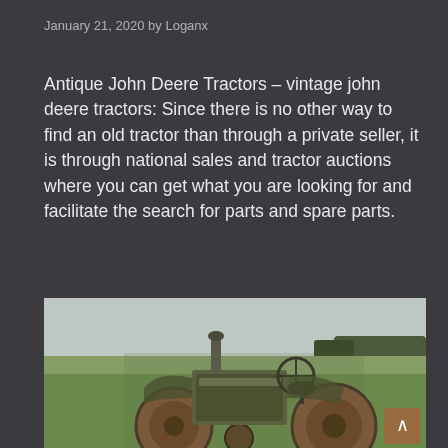January 21, 2020 by Loganx
Antique John Deere Tractors – vintage john deere tractors: Since there is no other way to find an old tractor than through a private seller, it is through national sales and tractor auctions where you can get what you are looking for and facilitate the search for parts and spare parts.
[Figure (photo): Photograph of an antique/vintage John Deere tractor, heavily rusted and aged green, parked in a flat green farm field under a hazy sky with trees on the horizon.]